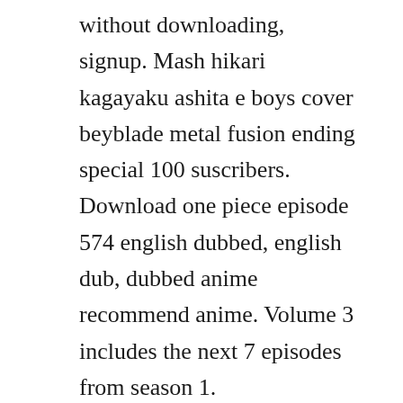without downloading, signup. Mash hikari kagayaku ashita e boys cover beyblade metal fusion ending special 100 suscribers. Download one piece episode 574 english dubbed, english dub, dubbed anime recommend anime. Volume 3 includes the next 7 episodes from season 1. Kisstamilanime, free download tamil dubbed cartoons and animes, watch online tamil cartoons and animes, pokemon in tamil beyblade. Metal fury nov 20, 2011 north american anime, manga releases. Learn everything from the basics to advanced